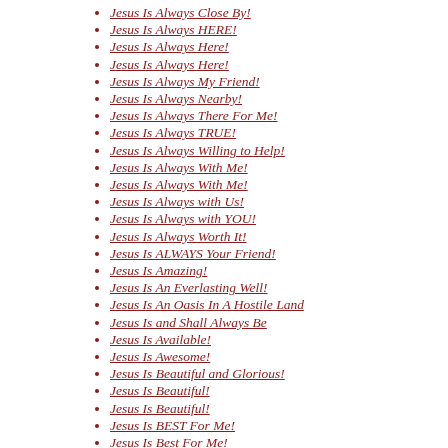Jesus Is Always Close By!
Jesus Is Always HERE!
Jesus Is Always Here!
Jesus Is Always Here!
Jesus Is Always My Friend!
Jesus Is Always Nearby!
Jesus Is Always There For Me!
Jesus Is Always TRUE!
Jesus Is Always Willing to Help!
Jesus Is Always With Me!
Jesus Is Always With Me!
Jesus Is Always with Us!
Jesus Is Always with YOU!
Jesus Is Always Worth It!
Jesus Is ALWAYS Your Friend!
Jesus Is Amazing!
Jesus Is An Everlasting Well!
Jesus Is An Oasis In A Hostile Land
Jesus Is and Shall Always Be
Jesus Is Available!
Jesus Is Awesome!
Jesus Is Beautiful and Glorious!
Jesus Is Beautiful!
Jesus Is Beautiful!
Jesus Is BEST For Me!
Jesus Is Best For Me!
Jesus Is Better!
Jesus Is Coming Like He Said!
Jesus Is Coming Soon!
Jesus Is Coming Very Soon!